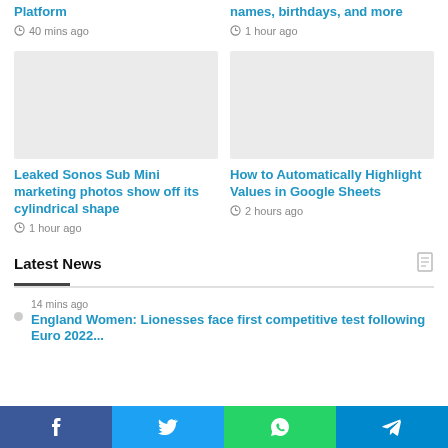Platform
40 mins ago
names, birthdays, and more
1 hour ago
[Figure (photo): Blank placeholder image for Leaked Sonos Sub Mini article]
Leaked Sonos Sub Mini marketing photos show off its cylindrical shape
1 hour ago
[Figure (photo): Blank placeholder image for How to Automatically Highlight Values in Google Sheets article]
How to Automatically Highlight Values in Google Sheets
2 hours ago
Latest News
14 mins ago
England Women: Lionesses face first competitive test following Euro 2022...